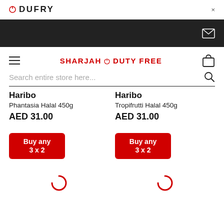DUFRY
[Figure (screenshot): Dark navigation bar with mail/envelope icon]
SHARJAH DUTY FREE
Search entire store here...
Haribo
Phantasia Halal 450g
AED 31.00
Haribo
Tropifrutti Halal 450g
AED 31.00
Buy any 3 x 2
Buy any 3 x 2
[Figure (other): Loading spinner (partial circle arc, red)]
[Figure (other): Loading spinner (partial circle arc, red)]